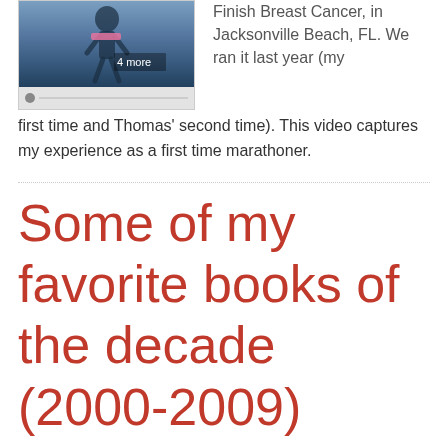[Figure (screenshot): Video thumbnail showing a person running, with overlay text '4 more' and a progress bar at the bottom]
Finish Breast Cancer, in Jacksonville Beach, FL. We ran it last year (my first time and Thomas' second time). This video captures my experience as a first time marathoner.
Some of my favorite books of the decade (2000-2009)